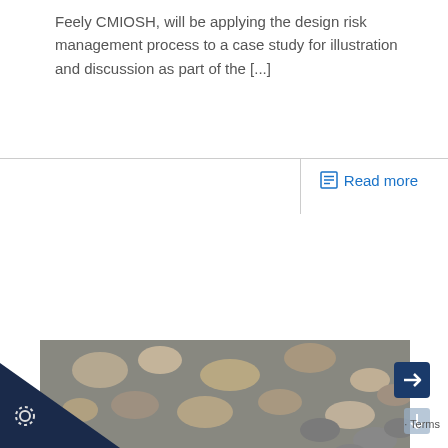Feely CMIOSH, will be applying the design risk management process to a case study for illustration and discussion as part of the [...]
Read more
[Figure (photo): Close-up photograph of an industrial pipe coupling or hose connector lying on gravel. The metal fitting shows wear and a clamp/locking mechanism connecting two pipe sections.]